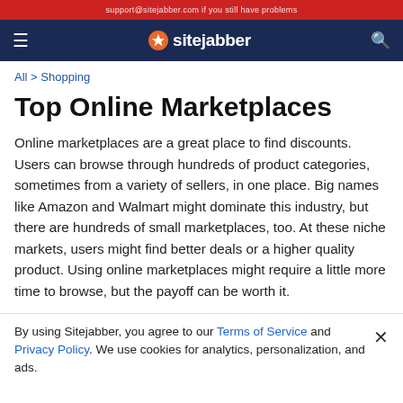support@sitejabber.com if you still have problems
[Figure (logo): Sitejabber navigation bar with hamburger menu, Sitejabber logo (star icon + text), and search icon on dark navy background]
All > Shopping
Top Online Marketplaces
Online marketplaces are a great place to find discounts. Users can browse through hundreds of product categories, sometimes from a variety of sellers, in one place. Big names like Amazon and Walmart might dominate this industry, but there are hundreds of small marketplaces, too. At these niche markets, users might find better deals or a higher quality product. Using online marketplaces might require a little more time to browse, but the payoff can be worth it.
By using Sitejabber, you agree to our Terms of Service and Privacy Policy. We use cookies for analytics, personalization, and ads.